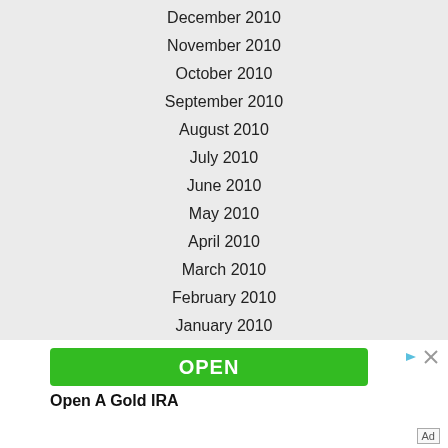December 2010
November 2010
October 2010
September 2010
August 2010
July 2010
June 2010
May 2010
April 2010
March 2010
February 2010
January 2010
December 2009
[Figure (other): Advertisement banner with green OPEN button and text 'Open A Gold IRA']